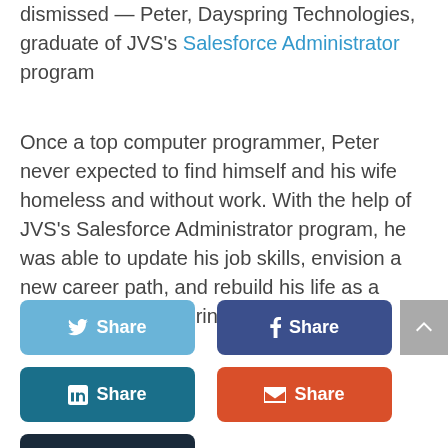dismissed — Peter, Dayspring Technologies, graduate of JVS's Salesforce Administrator program
Once a top computer programmer, Peter never expected to find himself and his wife homeless and without work. With the help of JVS's Salesforce Administrator program, he was able to update his job skills, envision a new career path, and rebuild his life as a consultant at Dayspring Technologies.
[Figure (infographic): Social share buttons: Twitter Share (light blue), Facebook Share (dark blue), LinkedIn Share (teal), Email Share (orange-red), Print Share (dark navy)]